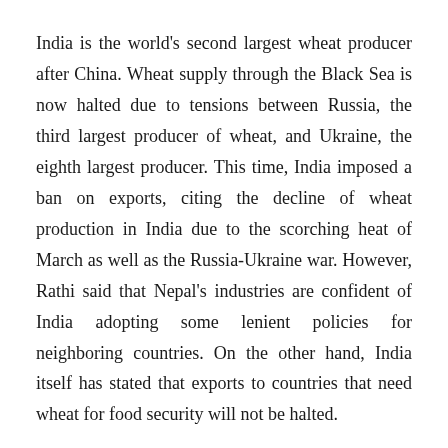India is the world's second largest wheat producer after China. Wheat supply through the Black Sea is now halted due to tensions between Russia, the third largest producer of wheat, and Ukraine, the eighth largest producer. This time, India imposed a ban on exports, citing the decline of wheat production in India due to the scorching heat of March as well as the Russia-Ukraine war. However, Rathi said that Nepal's industries are confident of India adopting some lenient policies for neighboring countries. On the other hand, India itself has stated that exports to countries that need wheat for food security will not be halted.
Operator of Baba Flour Mill Suresh Rathi said that even if India bans wheat export, local production will last for a few months and there will be no immediate problem. He says the ban will